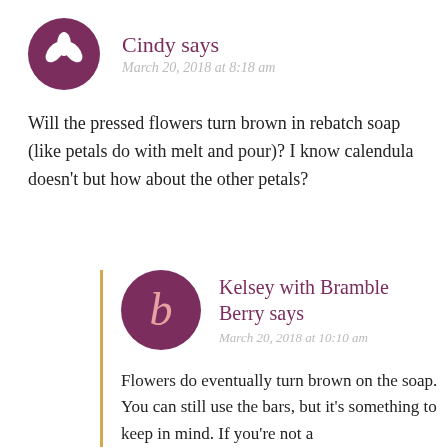Cindy says
March 20, 2018 at 8:18 am
Will the pressed flowers turn brown in rebatch soap (like petals do with melt and pour)? I know calendula doesn't but how about the other petals?
Kelsey with Bramble Berry says
March 20, 2018 at 10:10 am
Flowers do eventually turn brown on the soap. You can still use the bars, but it's something to keep in mind. If you're not a…